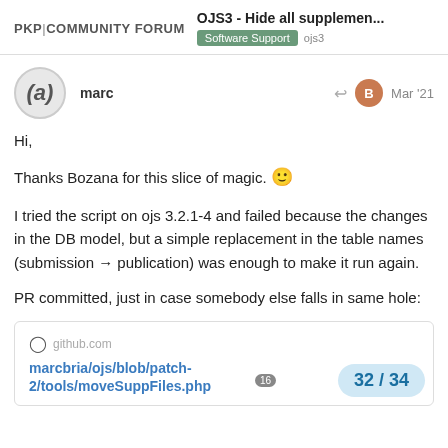PKP|COMMUNITY FORUM — OJS3 - Hide all supplemen... Software Support ojs3
marc
Mar '21
Hi,
Thanks Bozana for this slice of magic. 🙂
I tried the script on ojs 3.2.1-4 and failed because the changes in the DB model, but a simple replacement in the table names (submission → publication) was enough to make it run again.
PR committed, just in case somebody else falls in same hole:
github.com
marcbria/ojs/blob/patch-2/tools/moveSuppFiles.php 16
32 / 34